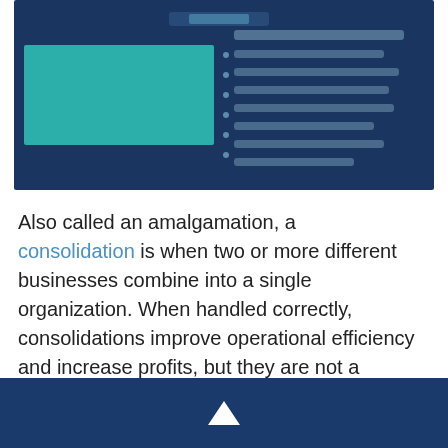[Figure (screenshot): A blurred screenshot of a document or web page with a dark navy blue background, a teal/turquoise rectangle on the left side, and text content on the right side that is not legible due to blurring.]
Also called an amalgamation, a consolidation is when two or more different businesses combine into a single organization. When handled correctly, consolidations improve operational efficiency and increase profits, but they are not a guaranteed recipe for success and can come with downfalls.
[Figure (other): Dark navy blue footer bar with a white upward-pointing arrow icon in the center.]